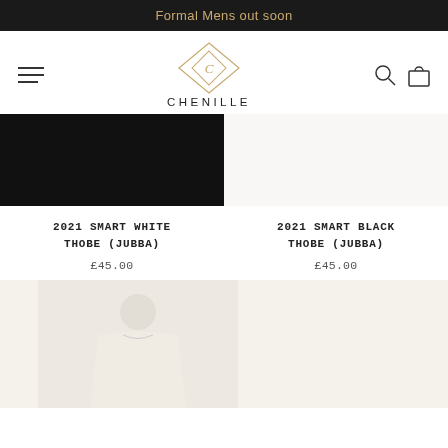Formal Mens out soon
[Figure (logo): Chenille brand logo with diamond/rhombus geometric shape containing letter C, and text CHENILLE below]
[Figure (photo): Dark product image partially visible - 2021 Smart White Thobe (Jubba)]
2021 SMART WHITE THOBE (JUBBA)
£45.00
[Figure (photo): 2021 Smart Black Thobe (Jubba) product image area - white background]
2021 SMART BLACK THOBE (JUBBA)
£45.00
[Figure (photo): Partial product image of a white thobe/jubba garment on light beige background, bottom of page]